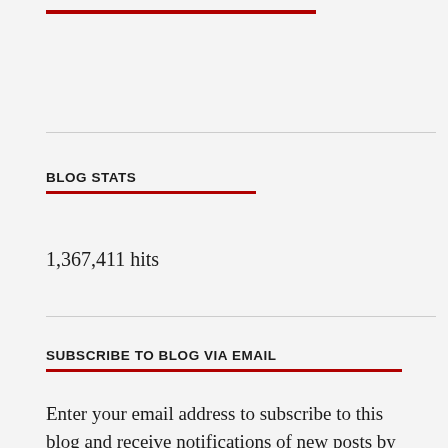BLOG STATS
1,367,411 hits
SUBSCRIBE TO BLOG VIA EMAIL
Enter your email address to subscribe to this blog and receive notifications of new posts by